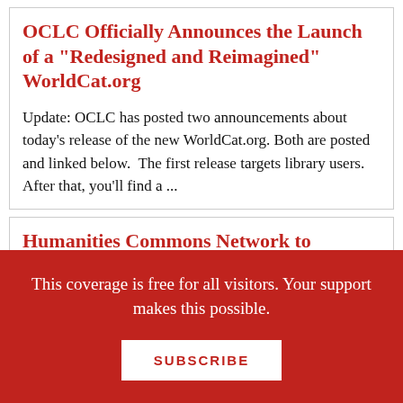OCLC Officially Announces the Launch of a "Redesigned and Reimagined" WorldCat.org
Update: OCLC has posted two announcements about today’s release of the new WorldCat.org. Both are posted and linked below.  The first release targets library users. After that, you’ll find a ...
Humanities Commons Network to Expand to New STEM-Focused Commons, Awarded Three-Year $1.34 Million Grant
This coverage is free for all visitors. Your support makes this possible.